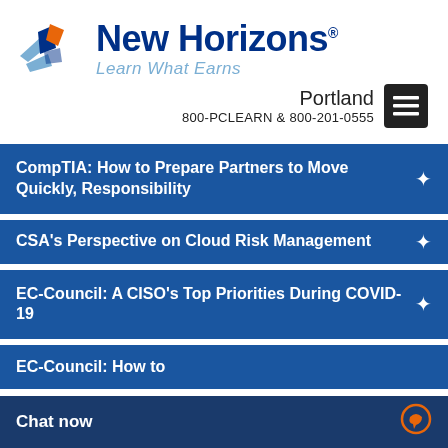[Figure (logo): New Horizons logo with tagline 'Learn What Earns']
Portland
800-PCLEARN  & 800-201-0555
CompTIA: How to Prepare Partners to Move Quickly, Responsibility
CSA's Perspective on Cloud Risk Management
EC-Council: A CISO's Top Priorities During COVID-19
EC-Council: How to
Chat now